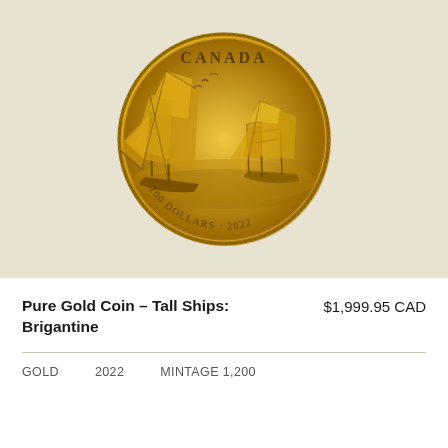[Figure (photo): Gold coin showing two tall sailing ships (brigantines) on the ocean. The coin reads 'CANADA' at the top and '200 DOLLARS · 2022' along the bottom edge. The coin is circular with a golden color and detailed engraving of the ships with sails and rigging.]
Pure Gold Coin – Tall Ships: Brigantine
$1,999.95 CAD
GOLD    2022    MINTAGE 1,200